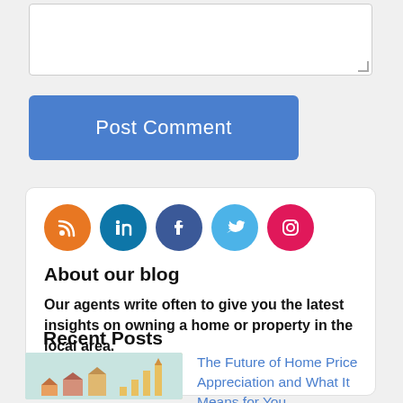[Figure (screenshot): Textarea input box for comment]
[Figure (screenshot): Blue 'Post Comment' button]
[Figure (infographic): Social media icon row: RSS (orange), LinkedIn (teal), Facebook (blue), Twitter (light blue), Instagram (pink)]
About our blog
Our agents write often to give you the latest insights on owning a home or property in the local area.
Recent Posts
[Figure (photo): Thumbnail image of home price appreciation concept — small houses and bar chart arrows]
The Future of Home Price Appreciation and What It Means for You